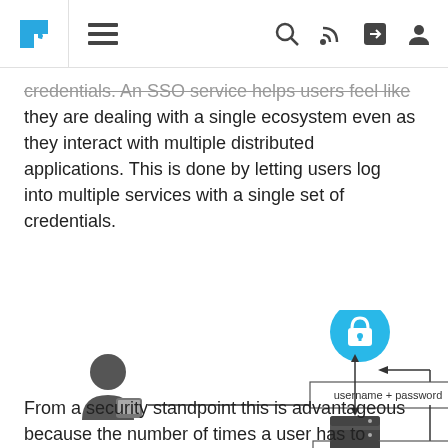Navigation bar with puzzle logo, hamburger menu, search, RSS, share, and profile icons
credentials. An SSO service helps users feel like they are dealing with a single ecosystem even as they interact with multiple distributed applications. This is done by letting users log into multiple services with a single set of credentials.
[Figure (flowchart): SSO flow diagram: a user icon on the left sends username + password to a lock (SSO provider) via arrow. The lock has a double-headed arrow to a server/web icon below it. A token/assertion flows from the lock back down to a second arrow toward the server icon.]
From a security standpoint this is advantageous because the number of times a user has to